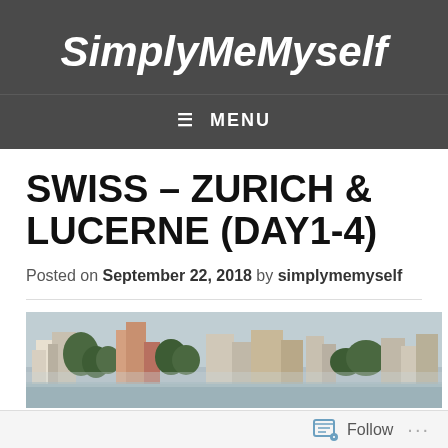SimplyMeMyself
≡ MENU
SWISS – ZURICH & LUCERNE (DAY1-4)
Posted on September 22, 2018 by simplymemyself
[Figure (photo): Panoramic cityscape photo showing buildings and trees along a waterfront, likely Lucerne or Zurich, Switzerland, with overcast sky.]
Follow